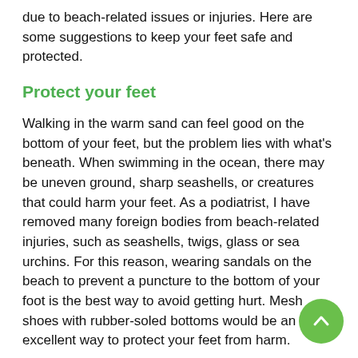due to beach-related issues or injuries. Here are some suggestions to keep your feet safe and protected.
Protect your feet
Walking in the warm sand can feel good on the bottom of your feet, but the problem lies with what's beneath. When swimming in the ocean, there may be uneven ground, sharp seashells, or creatures that could harm your feet. As a podiatrist, I have removed many foreign bodies from beach-related injuries, such as seashells, twigs, glass or sea urchins. For this reason, wearing sandals on the beach to prevent a puncture to the bottom of your foot is the best way to avoid getting hurt. Mesh shoes with rubber-soled bottoms would be an excellent way to protect your feet from harm.
Be wise when walking
There's usually time for leisure activities when on vacation,